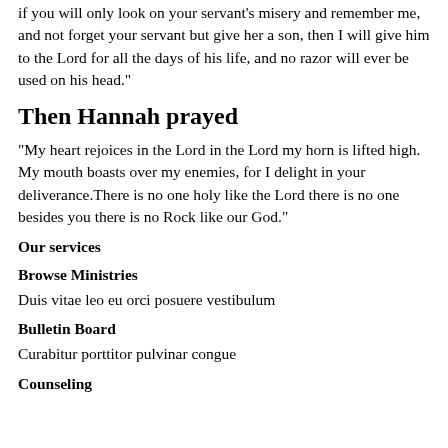if you will only look on your servant's misery and remember me, and not forget your servant but give her a son, then I will give him to the Lord for all the days of his life, and no razor will ever be used on his head."
Then Hannah prayed
"My heart rejoices in the Lord in the Lord my horn is lifted high. My mouth boasts over my enemies, for I delight in your deliverance.There is no one holy like the Lord there is no one besides you there is no Rock like our God."
Our services
Browse Ministries
Duis vitae leo eu orci posuere vestibulum
Bulletin Board
Curabitur porttitor pulvinar congue
Counseling